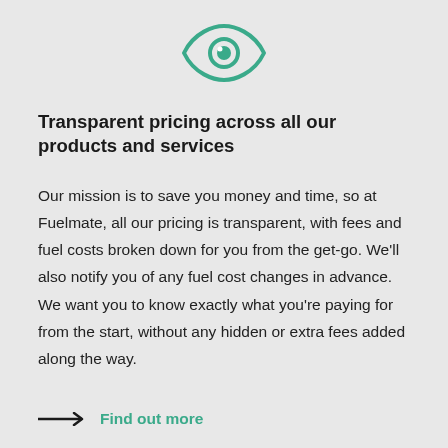[Figure (illustration): Green eye icon outline with a teal pupil/iris, centered at the top of the page]
Transparent pricing across all our products and services
Our mission is to save you money and time, so at Fuelmate, all our pricing is transparent, with fees and fuel costs broken down for you from the get-go. We’ll also notify you of any fuel cost changes in advance. We want you to know exactly what you’re paying for from the start, without any hidden or extra fees added along the way.
→ Find out more